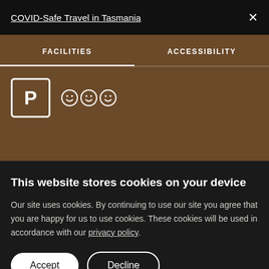COVID-Safe Travel in Tasmania
FACILITIES
ACCESSIBILITY
[Figure (other): Parking icon (letter P in a square) and three smiley face icons representing facilities]
This website stores cookies on your device
Our site uses cookies. By continuing to use our site you agree that you are happy for us to use cookies. These cookies will be used in accordance with our privacy policy.
Accept
Decline